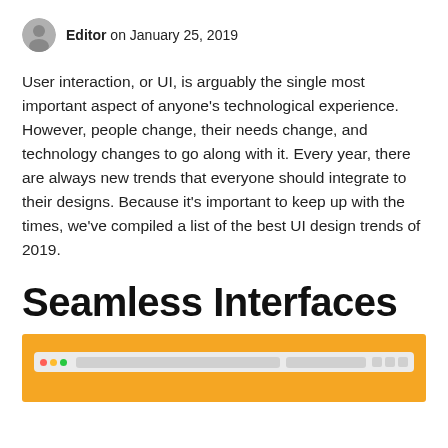Editor on January 25, 2019
User interaction, or UI, is arguably the single most important aspect of anyone's technological experience. However, people change, their needs change, and technology changes to go along with it. Every year, there are always new trends that everyone should integrate to their designs. Because it's important to keep up with the times, we've compiled a list of the best UI design trends of 2019.
Seamless Interfaces
[Figure (screenshot): A browser window screenshot shown against an orange/amber background, depicting a minimal browser UI with tab bar and address bar.]